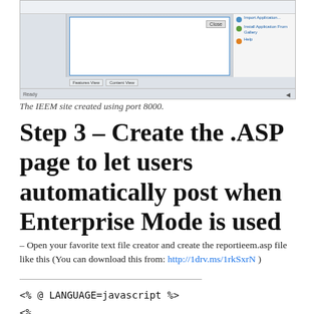[Figure (screenshot): Screenshot of IIS Manager application window showing a site configuration panel with a Close button, navigation panels, and right-side menu with options: Import Application, Install Application From Gallery, Help.]
The IEEM site created using port 8000.
Step 3 – Create the .ASP page to let users automatically post when Enterprise Mode is used
– Open your favorite text file creator and create the reportieem.asp file like this (You can download this from: http://1drv.ms/1rkSxrN )
<% @ LANGUAGE=javascript %>
<%